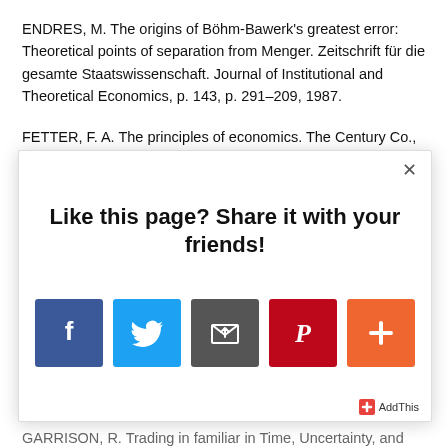ENDRES, M. The origins of Böhm-Bawerk's greatest error: Theoretical points of separation from Menger. Zeitschrift für die gesamte Staatswissenschaft. Journal of Institutional and Theoretical Economics, p. 143, p. 291–209, 1987.
FETTER, F. A. The principles of economics. The Century Co., New York, 1905.
[Figure (screenshot): A modal dialog overlay with a white background and close button (×). Contains bold heading 'Like this page? Share it with your friends!' and five social sharing icon buttons: Facebook (blue), Twitter (light blue), Email/mail (dark grey), Pinterest (red), and a plus/more button (orange). Bottom right shows an AddThis branding badge.]
GARRISON, R. Trading in familiar in Time, Uncertainty, and ...